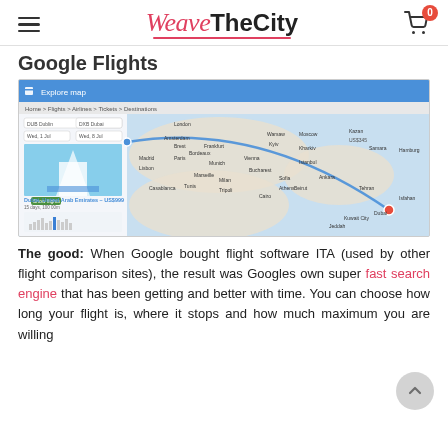WeaveTheCity — navigation header with hamburger menu and cart (0 items)
Google Flights
[Figure (screenshot): Screenshot of Google Flights Explore map showing a flight route from Dublin (DUB) to Dubai (DXB), with a map of Europe and the Middle East, flight details panel on left showing Burj Al Arab image, price chart, and route line arcing across the map.]
The good: When Google bought flight software ITA (used by other flight comparison sites), the result was Googles own super fast search engine that has been getting and better with time. You can choose how long your flight is, where it stops and how much maximum you are willing